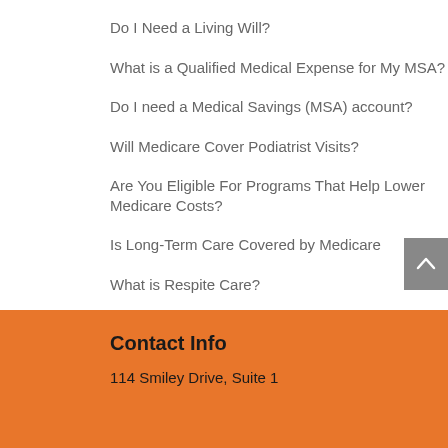Do I Need a Living Will?
What is a Qualified Medical Expense for My MSA?
Do I need a Medical Savings (MSA) account?
Will Medicare Cover Podiatrist Visits?
Are You Eligible For Programs That Help Lower Medicare Costs?
Is Long-Term Care Covered by Medicare
What is Respite Care?
Does Medicare Cover Telehealth Services?
Does Medicare Cover Hospice Care?
Contact Info
114 Smiley Drive, Suite 1